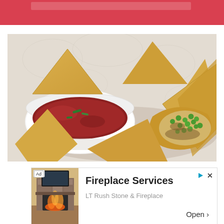[Figure (photo): Golden fried samosas arranged on a plate with a white bowl of tomato dipping sauce garnished with green chili pieces, and one samosa broken open showing a filling of green peas and minced meat on a white lace tablecloth.]
[Figure (photo): Advertisement image showing a stone fireplace with a modern insert in a living room setting.]
Ad
Fireplace Services
LT Rush Stone & Fireplace
Open >